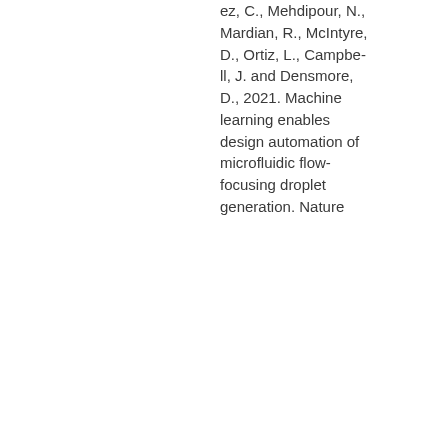ez, C., Mehdipour, N., Mardian, R., McIntyre, D., Ortiz, L., Campbell, J. and Densmore, D., 2021. Machine learning enables design automation of microfluidic flow-focusing droplet generation. Nature